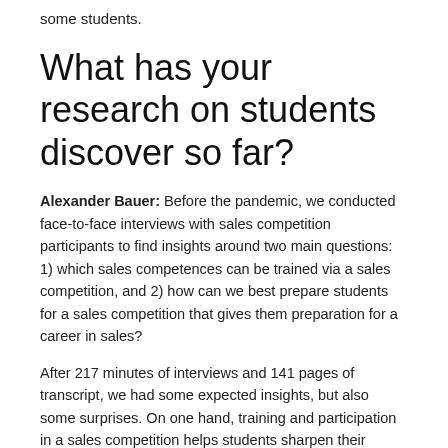some students.
What has your research on students discover so far?
Alexander Bauer: Before the pandemic, we conducted face-to-face interviews with sales competition participants to find insights around two main questions: 1) which sales competences can be trained via a sales competition, and 2) how can we best prepare students for a sales competition that gives them preparation for a career in sales?
After 217 minutes of interviews and 141 pages of transcript, we had some expected insights, but also some surprises. On one hand, training and participation in a sales competition helps students sharpen their